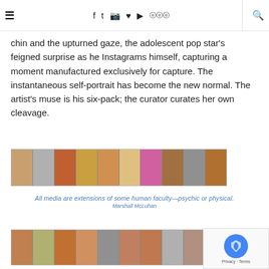≡  f  t  ☐  ✿  ▶  )))  🔍
chin and the upturned gaze, the adolescent pop star's feigned surprise as he Instagrams himself, capturing a moment manufactured exclusively for capture. The instantaneous self-portrait has become the new normal. The artist's muse is his six-pack; the curator curates her own cleavage.
[Figure (photo): A horizontal strip of approximately 10 selfie/Instagram-style thumbnail photos showing various people posing.]
All media are extensions of some human faculty—psychic or physical.
Marshall McLuhan
[Figure (photo): A second horizontal strip of approximately 10 selfie/Instagram-style thumbnail photos showing various people posing.]